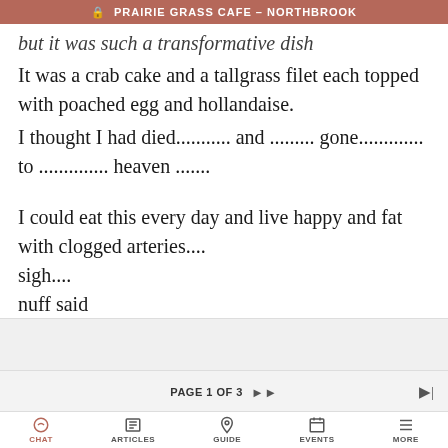🔒 PRAIRIE GRASS CAFE – NORTHBROOK
but it was such a transformative dish
It was a crab cake and a tallgrass filet each topped with poached egg and hollandaise.
I thought I had died........... and ......... gone............. to .............. heaven .......
I could eat this every day and live happy and fat with clogged arteries....
sigh....
nuff said
PAGE 1 OF 3  ▶▶  ▶| | ← BACK  FORUM HOME  LOCKED TOPIC  TOP ↑ | CHAT  ARTICLES  GUIDE  EVENTS  MORE